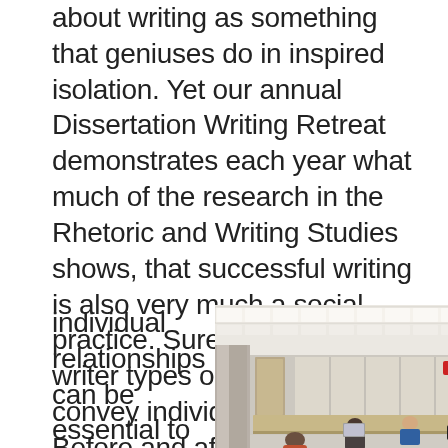about writing as something that geniuses do in inspired isolation. Yet our annual Dissertation Writing Retreat demonstrates each year what much of the research in the Rhetoric and Writing Studies shows, that successful writing is also very much a social practice. Sure, at some point a writer types out the words that convey individual thoughts. Before and after that moment, however, the power of community and
individual relationships can be essential to
[Figure (photo): A photo of students working at tables in a library or study hall, with bright ceiling lights, some working on laptops, viewed from the perspective of someone seated at the back foreground.]